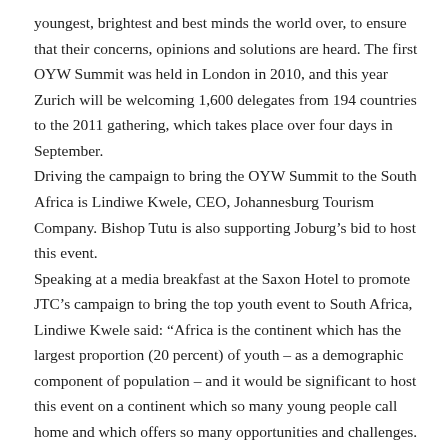youngest, brightest and best minds the world over, to ensure that their concerns, opinions and solutions are heard. The first OYW Summit was held in London in 2010, and this year Zurich will be welcoming 1,600 delegates from 194 countries to the 2011 gathering, which takes place over four days in September. Driving the campaign to bring the OYW Summit to the South Africa is Lindiwe Kwele, CEO, Johannesburg Tourism Company. Bishop Tutu is also supporting Joburg's bid to host this event. Speaking at a media breakfast at the Saxon Hotel to promote JTC's campaign to bring the top youth event to South Africa, Lindiwe Kwele said: “Africa is the continent which has the largest proportion (20 percent) of youth – as a demographic component of population – and it would be significant to host this event on a continent which so many young people call home and which offers so many opportunities and challenges. The breakfast attracted about 70 top officials including strategic partners, stakeholders, corporate, embassies and media.